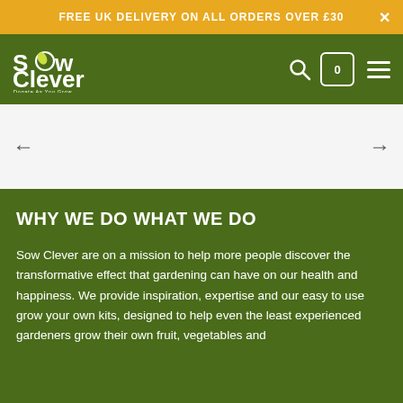FREE UK DELIVERY ON ALL ORDERS OVER £30
[Figure (logo): Sow Clever logo with tagline 'Donate As You Grow' on green navigation bar with search, cart (0), and menu icons]
[Figure (other): Carousel/slider area with left and right navigation arrows on white background]
WHY WE DO WHAT WE DO
Sow Clever are on a mission to help more people discover the transformative effect that gardening can have on our health and happiness. We provide inspiration, expertise and our easy to use grow your own kits, designed to help even the least experienced gardeners grow their own fruit, vegetables and flowers.